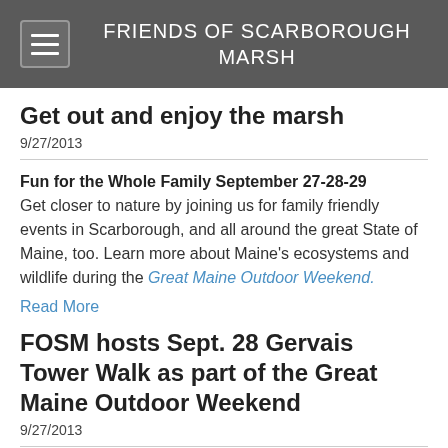FRIENDS OF SCARBOROUGH MARSH
Get out and enjoy the marsh
9/27/2013
Fun for the Whole Family September 27-28-29
Get closer to nature by joining us for family friendly events in Scarborough, and all around the great State of Maine, too. Learn more about Maine's ecosystems and wildlife during the Great Maine Outdoor Weekend.
Read More
FOSM hosts Sept. 28 Gervais Tower Walk as part of the Great Maine Outdoor Weekend
9/27/2013
The Great Maine Outdoor Weekend (GMOW) is a collaboration among